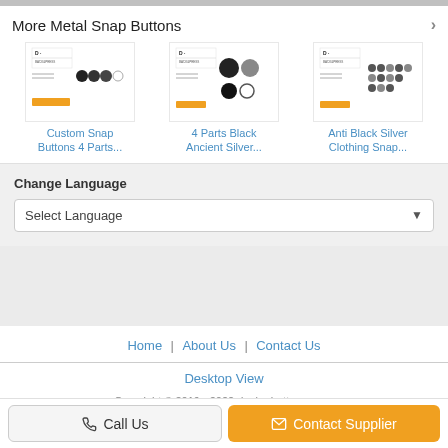More Metal Snap Buttons
[Figure (photo): Product thumbnail: Custom Snap Buttons 4 Parts with logo and snap button images]
Custom Snap Buttons 4 Parts...
[Figure (photo): Product thumbnail: 4 Parts Black Ancient Silver with logo and snap button images]
4 Parts Black Ancient Silver...
[Figure (photo): Product thumbnail: Anti Black Silver Clothing Snap with logo and snap button images]
Anti Black Silver Clothing Snap...
Change Language
Select Language
Home | About Us | Contact Us
Desktop View
Copyright © 2019 - 2022 denim-buttons.com. All rights reserved.
Call Us
Contact Supplier